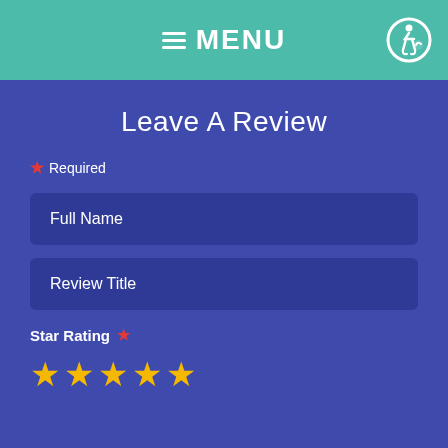MENU
Leave A Review
* Required
Full Name
Review Title
Star Rating *